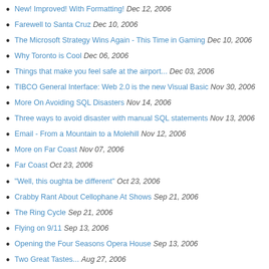New! Improved! With Formatting! Dec 12, 2006
Farewell to Santa Cruz Dec 10, 2006
The Microsoft Strategy Wins Again - This Time in Gaming Dec 10, 2006
Why Toronto is Cool Dec 06, 2006
Things that make you feel safe at the airport... Dec 03, 2006
TIBCO General Interface: Web 2.0 is the new Visual Basic Nov 30, 2006
More On Avoiding SQL Disasters Nov 14, 2006
Three ways to avoid disaster with manual SQL statements Nov 13, 2006
Email - From a Mountain to a Molehill Nov 12, 2006
More on Far Coast Nov 07, 2006
Far Coast Oct 23, 2006
"Well, this oughta be different" Oct 23, 2006
Crabby Rant About Cellophane At Shows Sep 21, 2006
The Ring Cycle Sep 21, 2006
Flying on 9/11 Sep 13, 2006
Opening the Four Seasons Opera House Sep 13, 2006
Two Great Tastes... Aug 27, 2006
RSS and the Three Popes Aug 25, 2006
Nano Redux Aug 25, 2006
Baked Astronomers Aug 21, 2006
All About the Flow III: How I Handle Music and Podcasts Aug 17, 2006